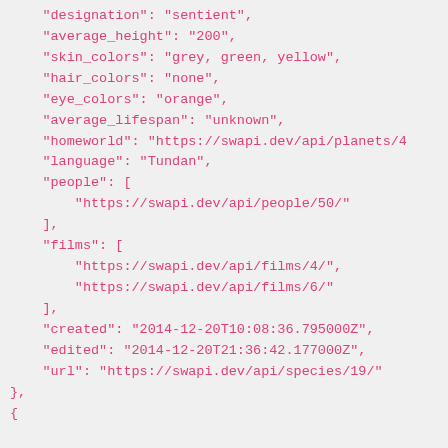JSON code snippet showing species data from swapi.dev API including fields: designation, average_height, skin_colors, hair_colors, eye_colors, average_lifespan, homeworld, language, people, films, created, edited, url for one species, followed by start of another species object with name: Cerean, classification: mammal, designation: sentient, average_height: 200, skin_colors: pale pink, hair_colors: red, blond, black, white